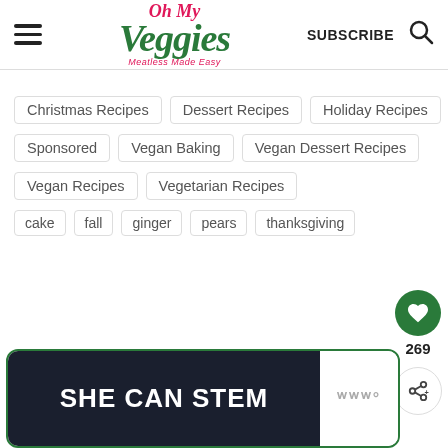Oh My Veggies — Meatless Made Easy | SUBSCRIBE
Christmas Recipes
Dessert Recipes
Holiday Recipes
Sponsored
Vegan Baking
Vegan Dessert Recipes
Vegan Recipes
Vegetarian Recipes
cake
fall
ginger
pears
thanksgiving
[Figure (other): SHE CAN STEM promotional banner card with dark background and logo]